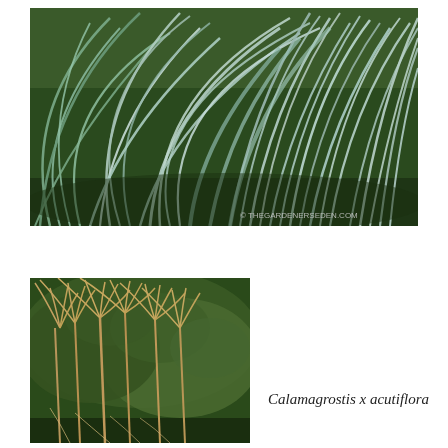[Figure (photo): Close-up photograph of ornamental grass with long arching blue-green and silver-striped blades spreading across a garden bed. Copyright watermark reads: © THEGARDENERSEDEN.COM]
[Figure (photo): Photograph of Calamagrostis x acutiflora ornamental grass in late season with tall upright feathery tan/golden seed heads against a dark green evergreen shrub background.]
Calamagrostis x acutiflora